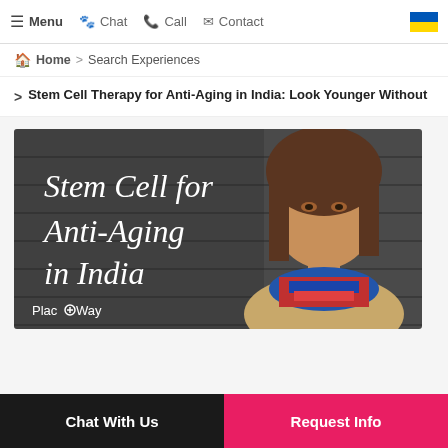Menu  Chat  Call  Contact
Home > Search Experiences
> Stem Cell Therapy for Anti-Aging in India: Look Younger Without
[Figure (photo): Banner image showing a middle-aged woman with text overlay 'Stem Cell for Anti-Aging in India' and PlacidWay logo]
Chat With Us   Request Info